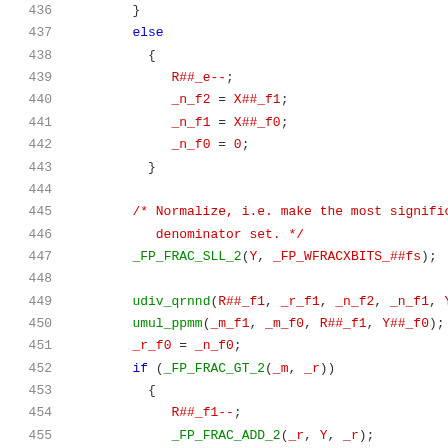Code listing lines 436–456: C preprocessor macro code for floating-point normalization and division
436     }
437     else
438         {
439             R##_e--;
440             _n_f2 = X##_f1;
441             _n_f1 = X##_f0;
442             _n_f0 = 0;
443         }
444
445     /* Normalize, i.e. make the most significant
446        denominator set. */
447     _FP_FRAC_SLL_2(Y, _FP_WFRACXBITS_##fs);
448
449     udiv_qrnnd(R##_f1, _r_f1, _n_f2, _n_f1, Y##
450     umul_ppmm(_m_f1, _m_f0, R##_f1, Y##_f0);
451     _r_f0 = _n_f0;
452     if (_FP_FRAC_GT_2(_m, _r))
453       {
454           R##_f1--;
455           _FP_FRAC_ADD_2(_r, Y, _r);
456           if (_FP_FRAC_GE_2(_r, Y) && _FP_FRAC_GT